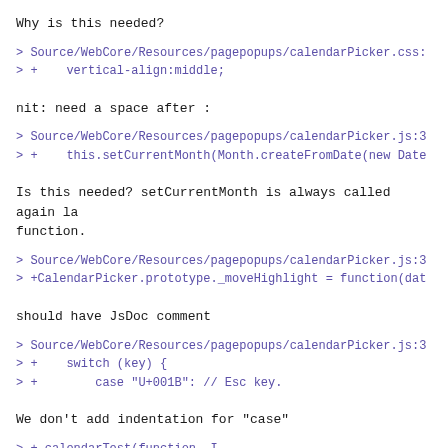Why is this needed?
> Source/WebCore/Resources/pagepopups/calendarPicker.css:
> +    vertical-align:middle;
nit: need a space after :
> Source/WebCore/Resources/pagepopups/calendarPicker.js:3
> +    this.setCurrentMonth(Month.createFromDate(new Date
Is this needed? setCurrentMonth is always called again la
function.
> Source/WebCore/Resources/pagepopups/calendarPicker.js:3
> +CalendarPicker.prototype._moveHighlight = function(dat
should have JsDoc comment
> Source/WebCore/Resources/pagepopups/calendarPicker.js:3
> +    switch (key) {
> +        case "U+001B": // Esc key.
We don't add indentation for "case"
> + calendarTest(function, I